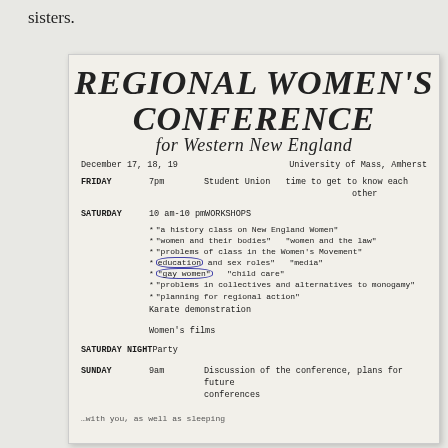sisters.
[Figure (photo): Scanned flyer for a Regional Women's Conference for Western New England. Handwritten/drawn lettering for the title, typewritten schedule details below. December 17, 18, 19 at University of Mass, Amherst. Friday 7pm Student Union - time to get to know each other. Saturday 10am-10pm WORKSHOPS listing several topics. Karate demonstration. Women's films. Saturday Night Party. Sunday 9am Discussion of the conference, plans for future conferences.]